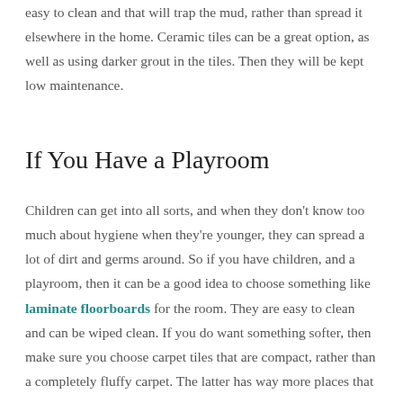easy to clean and that will trap the mud, rather than spread it elsewhere in the home. Ceramic tiles can be a great option, as well as using darker grout in the tiles. Then they will be kept low maintenance.
If You Have a Playroom
Children can get into all sorts, and when they don't know too much about hygiene when they're younger, they can spread a lot of dirt and germs around. So if you have children, and a playroom, then it can be a good idea to choose something like laminate floorboards for the room. They are easy to clean and can be wiped clean. If you do want something softer, then make sure you choose carpet tiles that are compact, rather than a completely fluffy carpet. The latter has way more places that can